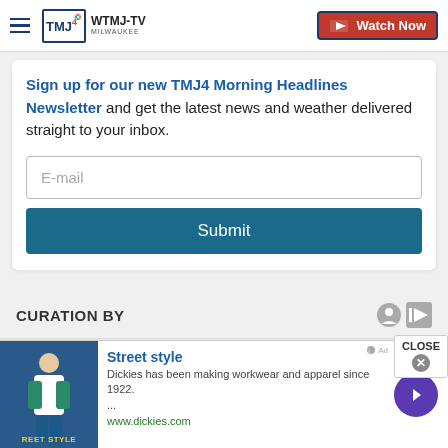[Figure (logo): WTMJ-TV Milwaukee logo with hamburger menu and Watch Now button]
Sign up for our new TMJ4 Morning Headlines Newsletter and get the latest news and weather delivered straight to your inbox.
E-mail
Submit
CURATION BY
[Figure (screenshot): Partially visible content below curation section]
CLOSE
[Figure (infographic): Advertisement: Street style - Dickies has been making workwear and apparel since 1922. ... www.dickies.com]